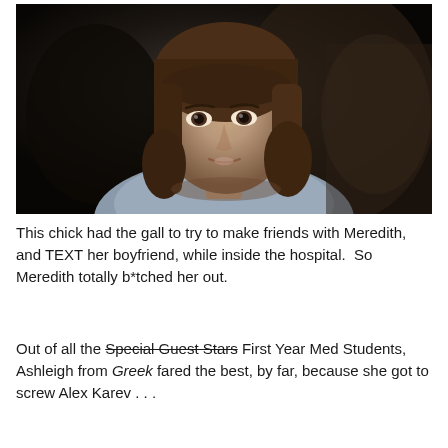[Figure (photo): A dark-toned close-up screenshot of a woman with brown straight hair and bangs, wearing a light blue/grey top, looking slightly surprised or concerned. The background is very dark. This appears to be a TV show still.]
This chick had the gall to try to make friends with Meredith, and TEXT her boyfriend, while inside the hospital.  So Meredith totally b*tched her out.
Out of all the Special Guest Stars First Year Med Students, Ashleigh from Greek fared the best, by far, because she got to screw Alex Karev . . .